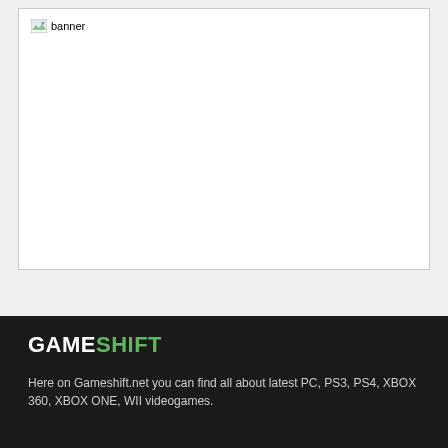[Figure (other): Banner image placeholder showing broken image icon with alt text 'banner']
GAMESHIFT
Here on Gameshift.net you can find all about latest PC, PS3, PS4, XBOX 360, XBOX ONE, WII videogames.